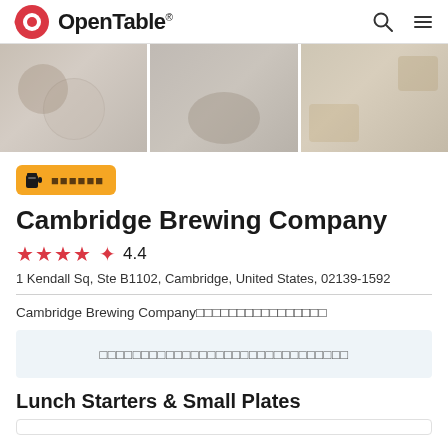OpenTable
[Figure (photo): Three food photos side by side: a pizza/flatbread, a rice/grain dish, and fried food items]
🍺 ░░░░░░ (badge with beer mug icon and colored squares)
Cambridge Brewing Company
★★★★½ 4.4
1 Kendall Sq, Ste B1102, Cambridge, United States, 02139-1592
Cambridge Brewing Company░░░░░░░░░░░░░░░░
░░░░░░░░░░░░░░░░░░░░░░░░░░░░░░
Lunch Starters & Small Plates